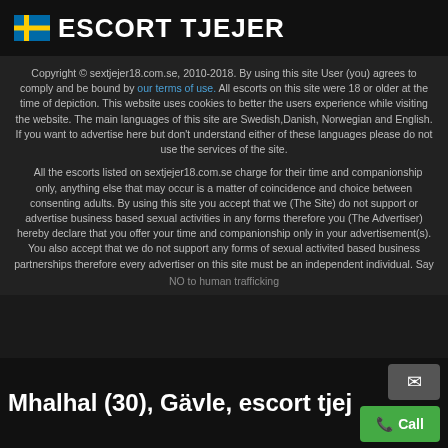ESCORT TJEJER
Copyright © sextjejer18.com.se, 2010-2018. By using this site User (you) agrees to comply and be bound by our terms of use. All escorts on this site were 18 or older at the time of depiction. This website uses cookies to better the users experience while visiting the website. The main languages of this site are Swedish,Danish, Norwegian and English. If you want to advertise here but don't understand either of these languages please do not use the services of the site.
All the escorts listed on sextjejer18.com.se charge for their time and companionship only, anything else that may occur is a matter of coincidence and choice between consenting adults. By using this site you accept that we (The Site) do not support or advertise business based sexual activities in any forms therefore you (The Advertiser) hereby declare that you offer your time and companionship only in your advertisement(s). You also accept that we do not support any forms of sexual activited based business partnerships therefore every advertiser on this site must be an independent individual. Say
NO to human trafficking
Mhalhal (30), Gävle, escort tjej